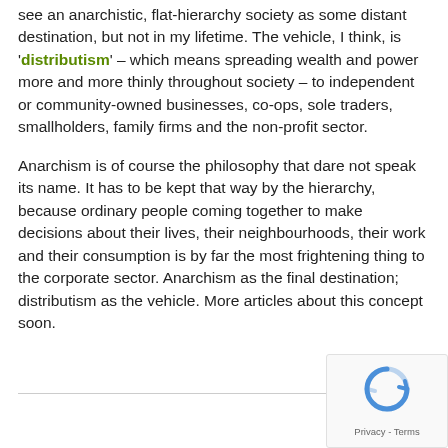see an anarchistic, flat-hierarchy society as some distant destination, but not in my lifetime. The vehicle, I think, is 'distributism' – which means spreading wealth and power more and more thinly throughout society – to independent or community-owned businesses, co-ops, sole traders, smallholders, family firms and the non-profit sector.
Anarchism is of course the philosophy that dare not speak its name. It has to be kept that way by the hierarchy, because ordinary people coming together to make decisions about their lives, their neighbourhoods, their work and their consumption is by far the most frightening thing to the corporate sector. Anarchism as the final destination; distributism as the vehicle. More articles about this concept soon.
[Figure (logo): reCAPTCHA logo with blue refresh-like arrows icon and 'Privacy - Terms' text below]